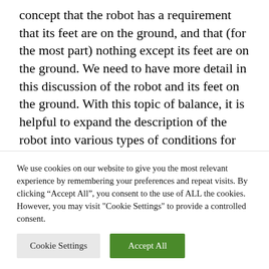concept that the robot has a requirement that its feet are on the ground, and that (for the most part) nothing except its feet are on the ground. We need to have more detail in this discussion of the robot and its feet on the ground. With this topic of balance, it is helpful to expand the description of the robot into various types of conditions for the robot.
We use cookies on our website to give you the most relevant experience by remembering your preferences and repeat visits. By clicking "Accept All", you consent to the use of ALL the cookies. However, you may visit "Cookie Settings" to provide a controlled consent.